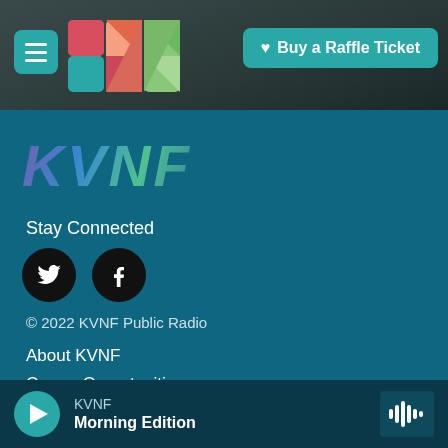[Figure (screenshot): Top navigation bar with hamburger menu, KVF colorful logo, and teal 'Buy a Raffle Ticket' button on dark rocky background]
[Figure (logo): KVNF text logo in multicolor gradient (purple, blue, green) italic style]
Stay Connected
[Figure (illustration): Two black circular social media icons: Twitter bird and Facebook f]
© 2022 KVNF Public Radio
About KVNF
Career Opportunities
Contact Us
KVNF Public File
[Figure (screenshot): Audio player bar at bottom with teal play button, KVNF label, Morning Edition show title, and waveform icon]